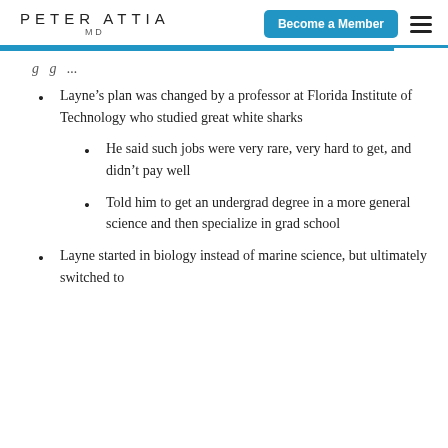PETER ATTIA MD | Become a Member
Layne’s plan was changed by a professor at Florida Institute of Technology who studied great white sharks
He said such jobs were very rare, very hard to get, and didn’t pay well
Told him to get an undergrad degree in a more general science and then specialize in grad school
Layne started in biology instead of marine science, but ultimately switched to